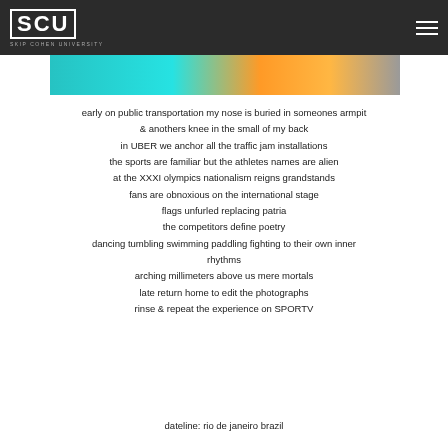SCU SKIP COHEN UNIVERSITY
[Figure (photo): Partial color photo strip showing athletes or people in teal, orange, and grey tones]
early on public transportation my nose is buried in someones armpit
& anothers knee in the small of my back
in UBER we anchor all the traffic jam installations
the sports are familiar but the athletes names are alien
at the XXXI olympics nationalism reigns grandstands
fans are obnoxious on the international stage
flags unfurled replacing patria
the competitors define poetry
dancing tumbling swimming paddling fighting to their own inner
rhythms
arching millimeters above us mere mortals
late return home to edit the photographs
rinse & repeat the experience on SPORTV
dateline: rio de janeiro brazil